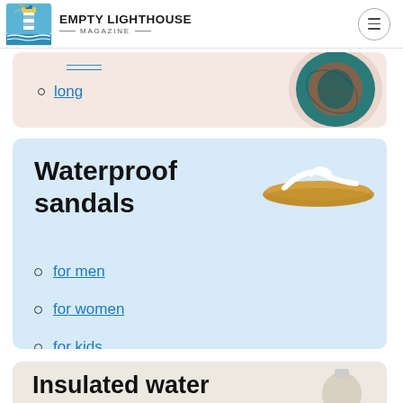Empty Lighthouse Magazine
long
[Figure (photo): Colorful teal and rust patterned garment/scarf]
Waterproof sandals
[Figure (photo): Tan flip-flop sandal with white strap]
for men
for women
for kids
Insulated water
[Figure (photo): Partial silhouette of water bottle]